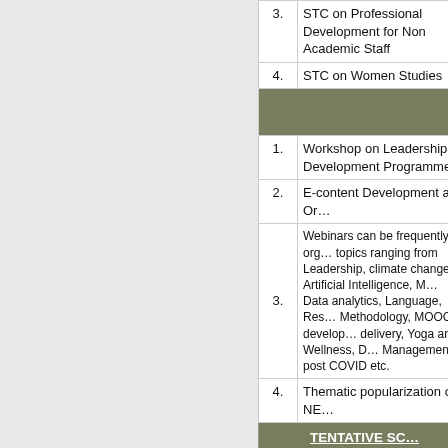| No. | Programme |
| --- | --- |
| 3. | STC on Professional Development for Non Academic Staff |
| 4. | STC on Women Studies |
|  |  |
| 1. | Workshop on Leadership Development Programme |
| 2. | E-content Development and Orientation |
| 3. | Webinars can be frequently organized on topics ranging from Leadership, Climate change, Artificial Intelligence, MOOCs, Data analytics, Language, Research Methodology, MOOCs development and delivery, Yoga and Wellness, Disaster Management post COVID etc. |
| 4. | Thematic popularization of NEP |
|  | TENTATIVE SCHEDULE
(Approved by UGC vide...) |
| 1. | Faculty Induction Programme |
| 2. | RC in Life Sciences |
| 3. | STC on Professional Development for Non-Academic Staff |
| 4. | RC in Language & Literature & Studies (Indian, English & Foreign) |